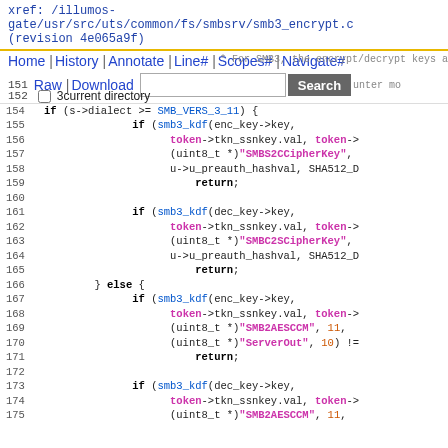xref: /illumos-gate/usr/src/uts/common/fs/smbsrv/smb3_encrypt.c (revision 4e065a9f)
Home | History | Annotate | Line# | Scopes# | Navigate#
Raw | Download [Search] current directory
154   if (s->dialect >= SMB_VERS_3_11) {
155     if (smb3_kdf(enc_key->key,
156       token->tkn_ssnkey.val, token->
157       (uint8_t *)"SMBS2CCipherKey",
158       u->u_preauth_hashval, SHA512_D
159           return;
160
161     if (smb3_kdf(dec_key->key,
162       token->tkn_ssnkey.val, token->
163       (uint8_t *)"SMBC2SCipherKey",
164       u->u_preauth_hashval, SHA512_D
165           return;
166   } else {
167     if (smb3_kdf(enc_key->key,
168       token->tkn_ssnkey.val, token->
169       (uint8_t *)"SMB2AESCCM", 11,
170       (uint8_t *)"ServerOut", 10) !=
171           return;
172
173     if (smb3_kdf(dec_key->key,
174       token->tkn_ssnkey.val, token->
175       (uint8_t *)"SMB2AESCCM", 11,